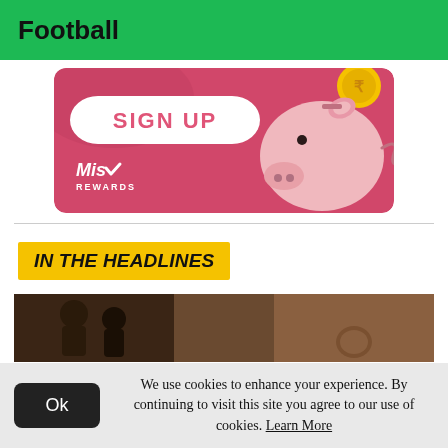Football
[Figure (illustration): Advertisement banner with pink background showing a 'SIGN UP' button in a white pill shape, a piggy bank illustration on the right, a gold coin at top right, and 'Mis Rewards' logo at bottom left.]
IN THE HEADLINES
[Figure (photo): A dark-toned photo strip showing people, appearing to be a football-related news photo.]
We use cookies to enhance your experience. By continuing to visit this site you agree to our use of cookies. Learn More